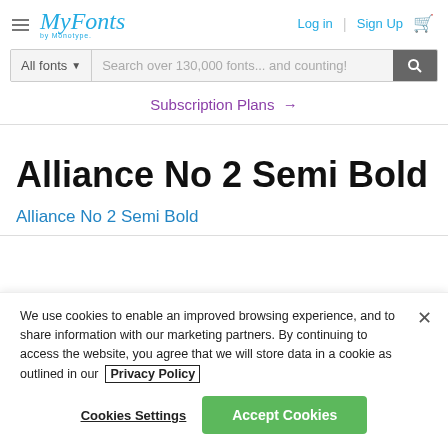MyFonts by Monotype — Log in | Sign Up
All fonts ▼  Search over 130,000 fonts... and counting!
Subscription Plans →
Alliance No 2 Semi Bold
Alliance No 2 Semi Bold
We use cookies to enable an improved browsing experience, and to share information with our marketing partners. By continuing to access the website, you agree that we will store data in a cookie as outlined in our Privacy Policy
Cookies Settings
Accept Cookies